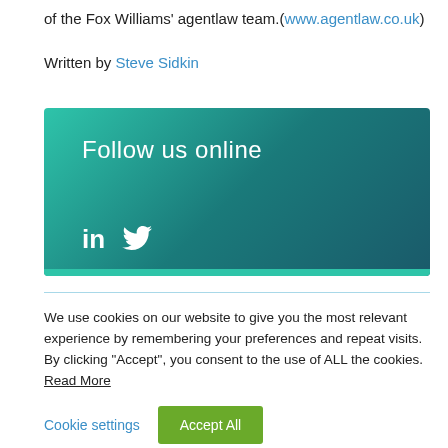of the Fox Williams' agentlaw team.(www.agentlaw.co.uk)
Written by Steve Sidkin
[Figure (infographic): A teal/dark teal gradient box with white text 'Follow us online' and LinkedIn and Twitter social media icons at the bottom left.]
We use cookies on our website to give you the most relevant experience by remembering your preferences and repeat visits. By clicking “Accept”, you consent to the use of ALL the cookies. Read More
Cookie settings | Accept All